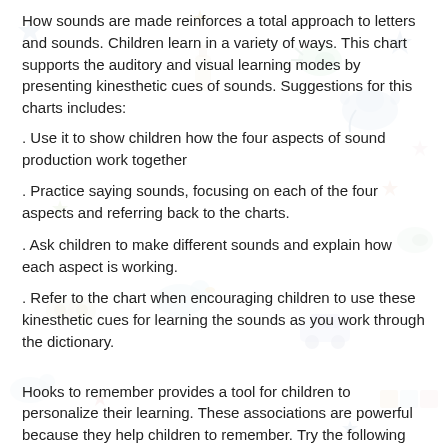How sounds are made reinforces a total approach to letters and sounds. Children learn in a variety of ways. This chart supports the auditory and visual learning modes by presenting kinesthetic cues of sounds. Suggestions for this charts includes:
. Use it to show children how the four aspects of sound production work together
. Practice saying sounds, focusing on each of the four aspects and referring back to the charts.
. Ask children to make different sounds and explain how each aspect is working.
. Refer to the chart when encouraging children to use these kinesthetic cues for learning the sounds as you work through the dictionary.
Hooks to remember provides a tool for children to personalize their learning. These associations are powerful because they help children to remember. Try the following